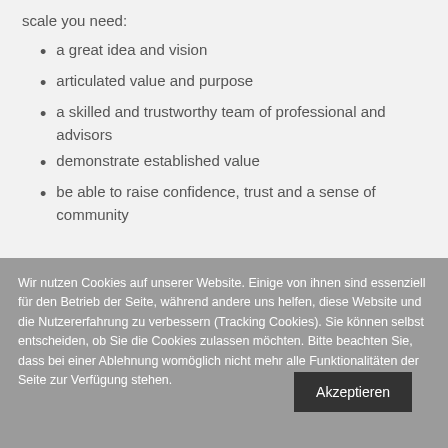scale you need:
a great idea and vision
articulated value and purpose
a skilled and trustworthy team of professional and advisors
demonstrate established value
be able to raise confidence, trust and a sense of community
Wir nutzen Cookies auf unserer Website. Einige von ihnen sind essenziell für den Betrieb der Seite, während andere uns helfen, diese Website und die Nutzererfahrung zu verbessern (Tracking Cookies). Sie können selbst entscheiden, ob Sie die Cookies zulassen möchten. Bitte beachten Sie, dass bei einer Ablehnung womöglich nicht mehr alle Funktionalitäten der Seite zur Verfügung stehen.
Akzeptieren